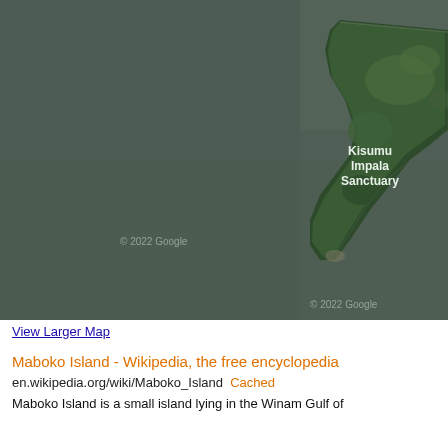[Figure (map): Google satellite map showing a peninsula/landmass labeled 'Kisumu Impala Sanctuary' in a large body of water (Lake Victoria / Winam Gulf). Dark green vegetation on the land, grey-green water surroundings. Copyright 2022 Google watermark visible.]
View Larger Map
Maboko Island - Wikipedia, the free encyclopedia
en.wikipedia.org/wiki/Maboko_Island  Cached
Maboko Island is a small island lying in the Winam Gulf of